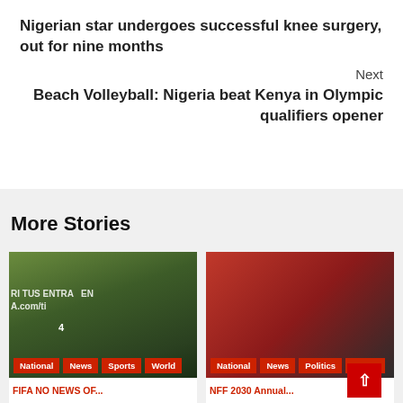Nigerian star undergoes successful knee surgery, out for nine months
Next
Beach Volleyball: Nigeria beat Kenya in Olympic qualifiers opener
More Stories
[Figure (photo): Football players celebrating on a pitch, with advertising boards visible in the background showing 'RI TUS ENTR...EN A.com/ti'. Tags: National, News, Sports, World]
[Figure (photo): Two men in suits in conversation, one bald in a dark suit with blue tie, the other wearing glasses with dark skin. Red background. Tags: National, News, Politics, Sports]
FIFA NO NEWS OF...
NFF 2030 Annual...